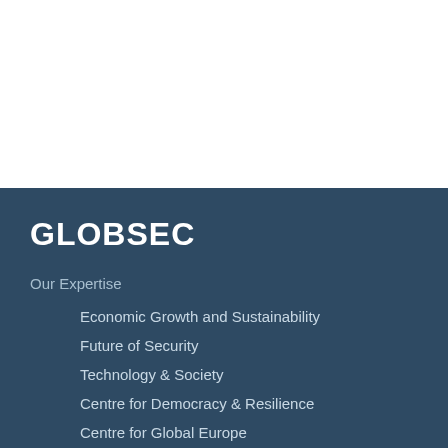GLOBSEC
Our Expertise
Economic Growth and Sustainability
Future of Security
Technology & Society
Centre for Democracy & Resilience
Centre for Global Europe
This website uses cookies to improve your experience. We'll assume you agree to this, but you can opt-out if you wish.
Cookie Settings | Accept